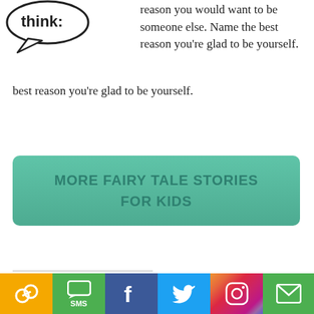[Figure (illustration): Partial speech bubble illustration at top left with 'think:' text inside]
reason you would want to be someone else. Name the best reason you're glad to be yourself.
MORE FAIRY TALE STORIES FOR KIDS
More Stories You'll Love
[Figure (infographic): Social sharing bar at bottom with copy link, SMS, Facebook, Twitter, Instagram, and email icons]